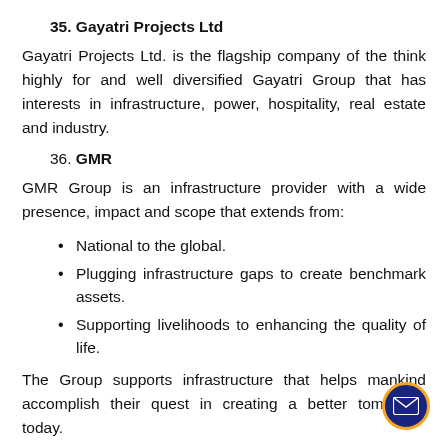35. Gayatri Projects Ltd
Gayatri Projects Ltd. is the flagship company of the think highly for and well diversified Gayatri Group that has interests in infrastructure, power, hospitality, real estate and industry.
36. GMR
GMR Group is an infrastructure provider with a wide presence, impact and scope that extends from:
National to the global.
Plugging infrastructure gaps to create benchmark assets.
Supporting livelihoods to enhancing the quality of life.
The Group supports infrastructure that helps mankind accomplish their quest in creating a better tomorrow, today.
Since its establishment in 1978, the GMR Group has...